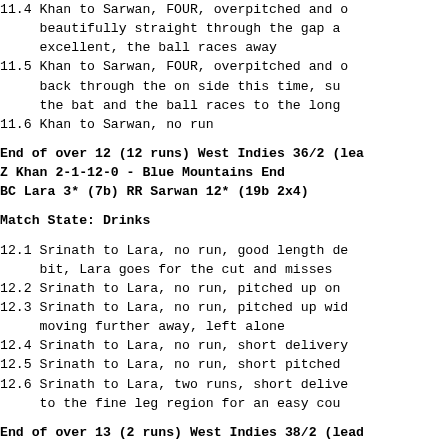11.4 Khan to Sarwan, FOUR, overpitched and o
         beautifully straight through the gap a
         excellent, the ball races away
11.5 Khan to Sarwan, FOUR, overpitched and o
         back through the on side this time, su
         the bat and the ball races to the long
11.6 Khan to Sarwan, no run
End of over 12 (12 runs) West Indies 36/2 (lea
Z Khan 2-1-12-0 - Blue Mountains End
BC Lara 3* (7b) RR Sarwan 12* (19b 2x4)
Match State: Drinks
12.1 Srinath to Lara, no run, good length de
         bit, Lara goes for the cut and misses
12.2 Srinath to Lara, no run, pitched up on
12.3 Srinath to Lara, no run, pitched up wid
         moving further away, left alone
12.4 Srinath to Lara, no run, short delivery
12.5 Srinath to Lara, no run, short pitched
12.6 Srinath to Lara, two runs, short delive
         to the fine leg region for an easy cou
End of over 13 (2 runs) West Indies 38/2 (lead